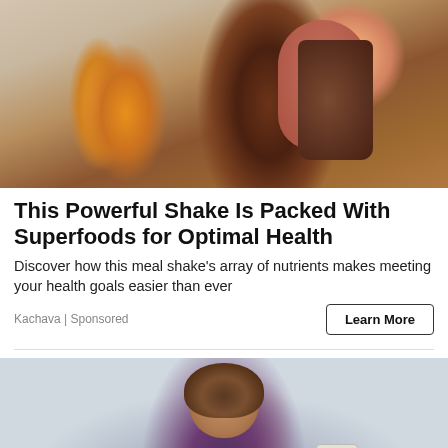[Figure (photo): Photo of a woman's hands holding a ceramic mug filled with chocolate shake, next to a cut cacao pod on a wooden surface]
This Powerful Shake Is Packed With Superfoods for Optimal Health
Discover how this meal shake's array of nutrients makes meeting your health goals easier than ever
Kachava | Sponsored
[Figure (photo): Photo of a smiling woman with curly hair on a beach holding a Kachava bag, wearing a dark wetsuit]